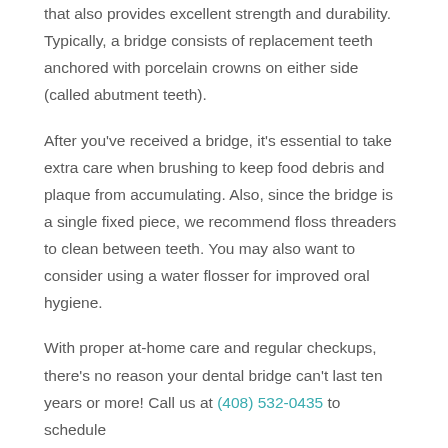that also provides excellent strength and durability. Typically, a bridge consists of replacement teeth anchored with porcelain crowns on either side (called abutment teeth).
After you've received a bridge, it's essential to take extra care when brushing to keep food debris and plaque from accumulating. Also, since the bridge is a single fixed piece, we recommend floss threaders to clean between teeth. You may also want to consider using a water flosser for improved oral hygiene.
With proper at-home care and regular checkups, there's no reason your dental bridge can't last ten years or more! Call us at (408) 532-0435 to schedule